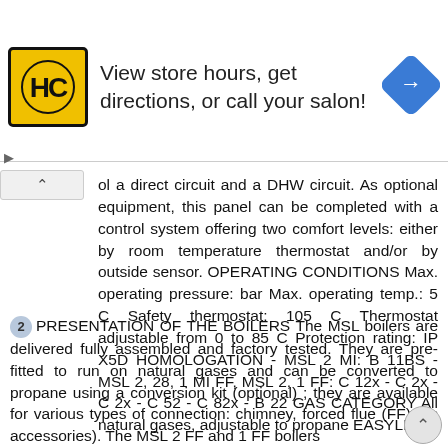[Figure (other): Advertisement banner for a salon - HC logo on yellow background, text 'View store hours, get directions, or call your salon!' with a blue navigation arrow icon on the right]
ol a direct circuit and a DHW circuit. As optional equipment, this panel can be completed with a control system offering two comfort levels: either by room temperature thermostat and/or by outside sensor. OPERATING CONDITIONS Max. operating pressure: bar Max. operating temp.: 5 C Safety thermostat: 105 C Thermostat adjustable from 0 to 85 C Protection rating: IP X5D HOMOLOGATION - MSL 2 MI: B 11BS - MSL 2, 28, 1 MI FF, MSL 2, 1 FF: C 12x - C 2x - C 2x - C 52 - C 82x - B 22 GAS CATEGORY All natural gases, adjustable to propane EASYLIFE
2 PRESENTATION OF THE BOILERS The MSL boilers are delivered fully assembled and factory tested. They are pre-fitted to run on natural gases and can be converted to propane using a conversion kit (optional) ; they are available for various types of connection: chimney, forced flue (FF) (as accessories). The MSL 2 FF and 1 FF boilers